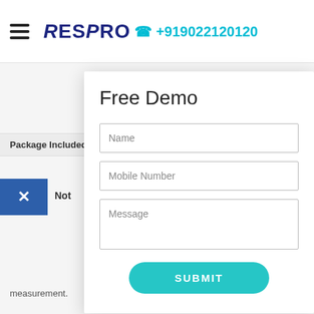ResPro +919022120120
Package Included   ▶1 * Oximeter
Note
Free Demo
Name
Mobile Number
Message
SUBMIT
measurement.
Privacy · Terms